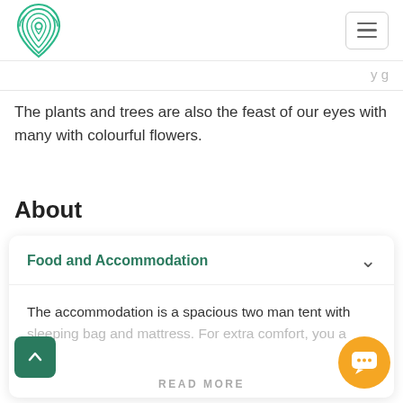[Figure (logo): Green fingerprint-style location pin logo]
The plants and trees are also the feast of our eyes with many with colourful flowers.
About
Food and Accommodation
The accommodation is a spacious two man tent with sleeping bag and mattress. For extra comfort, you a...
READ MORE